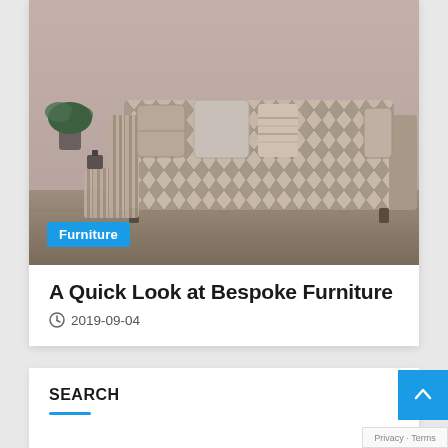[Figure (photo): A patterned sofa with chevron/zigzag design upholstery and multiple decorative pillows in neutral tones, placed on a wooden floor with a plant in background]
Furniture
A Quick Look at Bespoke Furniture
2019-09-04
SEARCH